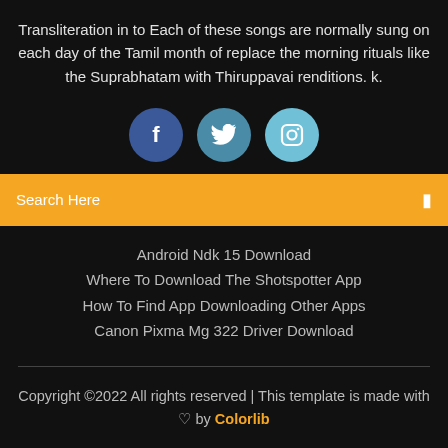Transliteration in to Each of these songs are normally sung on each day of the Tamil month of replace the morning rituals like the Suprabhatam with Thiruppavai renditions. k.
[Figure (infographic): Three social media icon circles: Facebook (dark blue), Twitter (medium blue), Instagram (light blue)]
Search Here
Android Ndk 15 Download
Where To Download The Shotspotter App
How To Find App Downloading Other Apps
Canon Pixma Mg 322 Driver Download
Copyright ©2022 All rights reserved | This template is made with ♡ by Colorlib